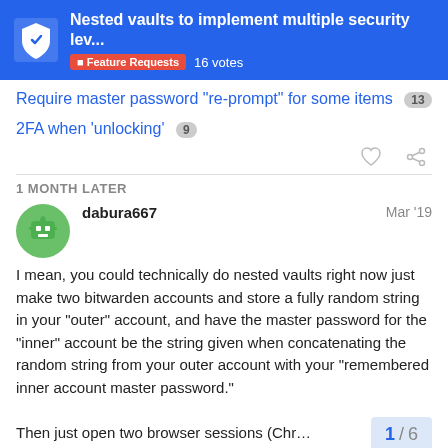Nested vaults to implement multiple security lev...
Feature Requests  16 votes
Require master password “re-prompt” for some items  13
2FA when ‘unlocking’  9
1 MONTH LATER
dabura667  Mar ’19
I mean, you could technically do nested vaults right now just make two bitwarden accounts and store a fully random string in your “outer” account, and have the master password for the “inner” account be the string given when concatenating the random string from your outer account with your “remembered inner account master password.”
Then just open two browser sessions (Chr...
1 / 6